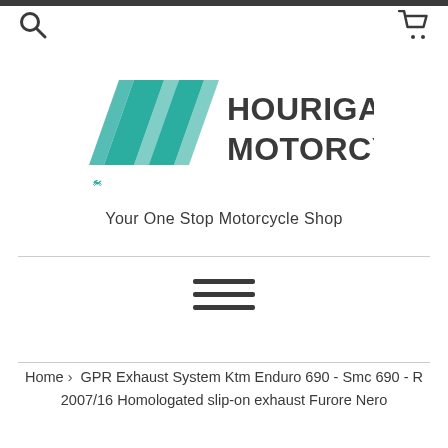[Figure (logo): Hourigan's Motorcycles logo with teal/geometric stripe design and company name]
Your One Stop Motorcycle Shop
[Figure (other): Hamburger menu icon with three horizontal lines]
Home › GPR Exhaust System Ktm Enduro 690 - Smc 690 - R 2007/16 Homologated slip-on exhaust Furore Nero